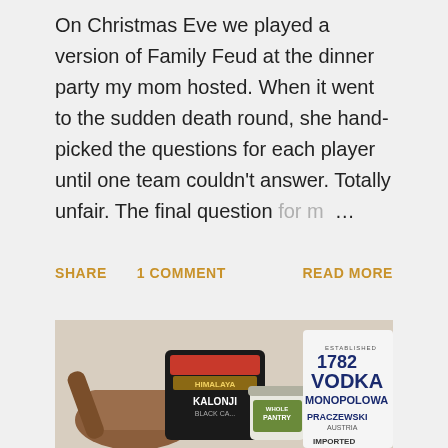On Christmas Eve we played a version of Family Feud at the dinner party my mom hosted. When it went to the sudden death round, she hand-picked the questions for each player until one team couldn't answer. Totally unfair. The final question for m…
SHARE   1 COMMENT   READ MORE
[Figure (photo): A photo showing a wooden mortar with a bag of Kalonji Black Cardamom (Himalaya brand), a small jar labeled Whole Pantry, and a bottle of Monopolowa Vodka Established 1782.]